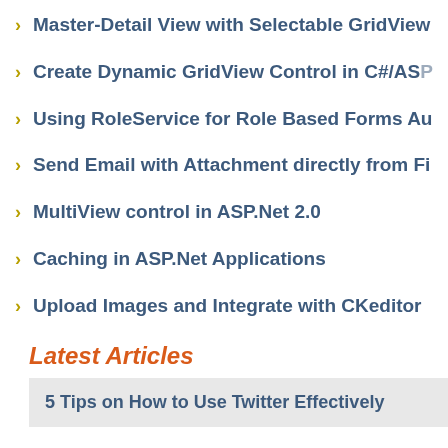Master-Detail View with Selectable GridView
Create Dynamic GridView Control in C#/ASP
Using RoleService for Role Based Forms Au
Send Email with Attachment directly from Fi
MultiView control in ASP.Net 2.0
Caching in ASP.Net Applications
Upload Images and Integrate with CKeditor
Latest Articles
5 Tips on How to Use Twitter Effectively